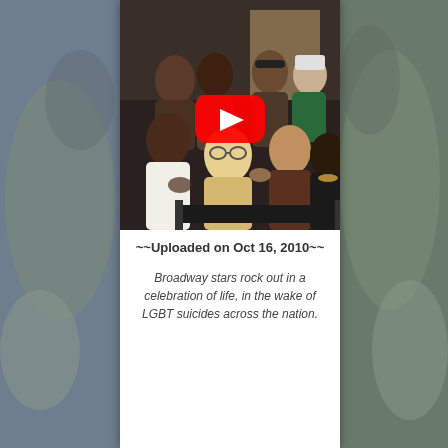[Figure (screenshot): YouTube video thumbnail showing a group of Broadway stars clapping and singing in a recording studio setting. A red YouTube play button overlay is centered on the image.]
~~Uploaded on Oct 16, 2010~~
Broadway stars rock out in a celebration of life, in the wake of LGBT suicides across the nation.